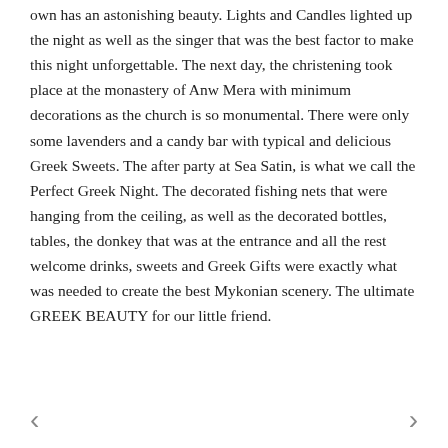own has an astonishing beauty. Lights and Candles lighted up the night as well as the singer that was the best factor to make this night unforgettable. The next day, the christening took place at the monastery of Anw Mera with minimum decorations as the church is so monumental. There were only some lavenders and a candy bar with typical and delicious Greek Sweets. The after party at Sea Satin, is what we call the Perfect Greek Night. The decorated fishing nets that were hanging from the ceiling, as well as the decorated bottles, tables, the donkey that was at the entrance and all the rest welcome drinks, sweets and Greek Gifts were exactly what was needed to create the best Mykonian scenery. The ultimate GREEK BEAUTY for our little friend.
< >